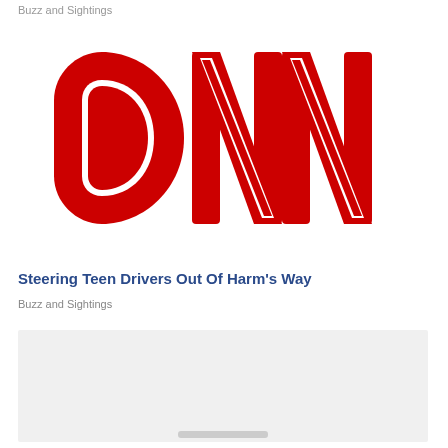Buzz and Sightings
[Figure (logo): CNN logo — large red bold letters 'CNN' with white inner outline on white background]
Steering Teen Drivers Out Of Harm's Way
Buzz and Sightings
[Figure (photo): Partial image at bottom of page, light gray background, partially visible]